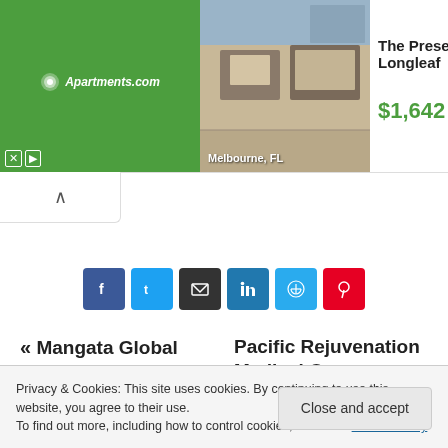[Figure (screenshot): Apartments.com advertisement banner showing The Preserve at Longleaf apartment, Melbourne FL, priced at $1,642 with More Info button]
[Figure (screenshot): Social share buttons row: Facebook, Twitter, Email, LinkedIn, Telegram, Pinterest]
« Mangata Global Recognized As Leading International Payroll Provider for
Pacific Rejuvenation Medical Opens a New Beauty Cli...
Privacy & Cookies: This site uses cookies. By continuing to use this website, you agree to their use.
To find out more, including how to control cookies, see here: Cookie Policy
Close and accept